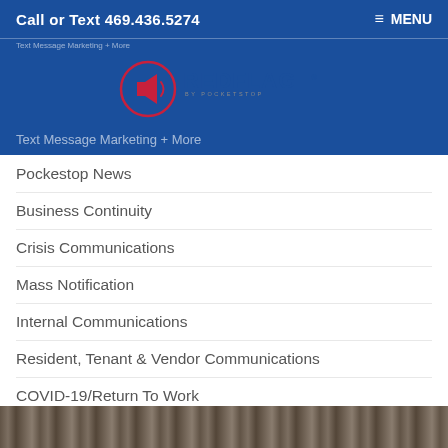Call or Text  469.436.5274  ≡ MENU
Text Message Marketing + More
[Figure (logo): RedFlag by Pocketstop logo — megaphone icon in red circle with REDFLAG text in dark blue]
Pockestop News
Business Continuity
Crisis Communications
Mass Notification
Internal Communications
Resident, Tenant & Vendor Communications
COVID-19/Return To Work
Microsoft Integration
Other
[Figure (photo): Partial photo strip at the bottom of the page]